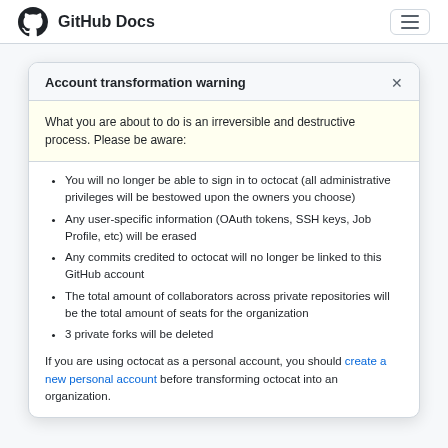GitHub Docs
Account transformation warning
What you are about to do is an irreversible and destructive process. Please be aware:
You will no longer be able to sign in to octocat (all administrative privileges will be bestowed upon the owners you choose)
Any user-specific information (OAuth tokens, SSH keys, Job Profile, etc) will be erased
Any commits credited to octocat will no longer be linked to this GitHub account
The total amount of collaborators across private repositories will be the total amount of seats for the organization
3 private forks will be deleted
If you are using octocat as a personal account, you should create a new personal account before transforming octocat into an organization.